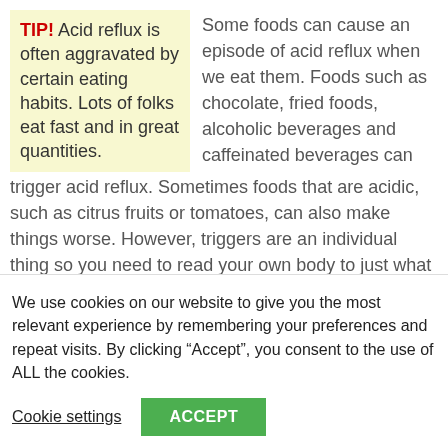TIP! Acid reflux is often aggravated by certain eating habits. Lots of folks eat fast and in great quantities.
Some foods can cause an episode of acid reflux when we eat them. Foods such as chocolate, fried foods, alcoholic beverages and caffeinated beverages can trigger acid reflux. Sometimes foods that are acidic, such as citrus fruits or tomatoes, can also make things worse. However, triggers are an individual thing so you need to read your own body to just what is not working for you. Just avoid these completely to
We use cookies on our website to give you the most relevant experience by remembering your preferences and repeat visits. By clicking “Accept”, you consent to the use of ALL the cookies.
Cookie settings
ACCEPT